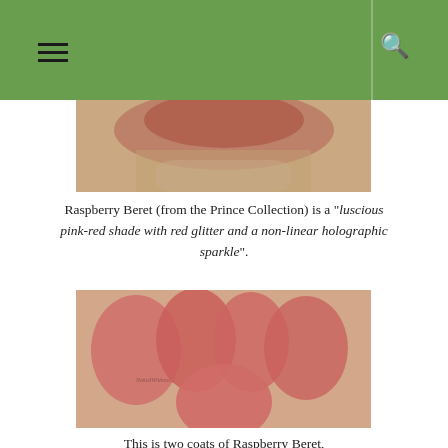Navigation header with hamburger menu and search icon
[Figure (photo): Top portion of a nail polish bottle with a red glitter polish visible, cropped at the top of the page]
Raspberry Beret (from the Prince Collection) is a "luscious pink-red shade with red glitter and a non-linear holographic sparkle".
[Figure (photo): Close-up photo of a hand with nails painted in Raspberry Beret, a pink-red glitter holographic nail polish, showing multiple fingers with a thumb in the foreground]
This is two coats of Raspberry Beret,